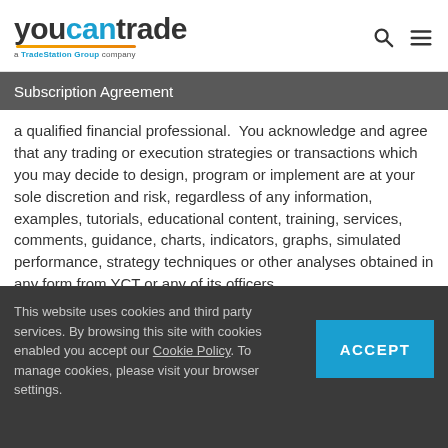youcantrade — a TradeStation Group company
Subscription Agreement
a qualified financial professional.  You acknowledge and agree that any trading or execution strategies or transactions which you may decide to design, program or implement are at your sole discretion and risk, regardless of any information, examples, tutorials, educational content, training, services, comments, guidance, charts, indicators, graphs, simulated performance, strategy techniques or other analyses obtained in any form from YCT or any of its officers
This website uses cookies and third party services. By browsing this site with cookies enabled you accept our Cookie Policy. To manage cookies, please visit your browser settings.